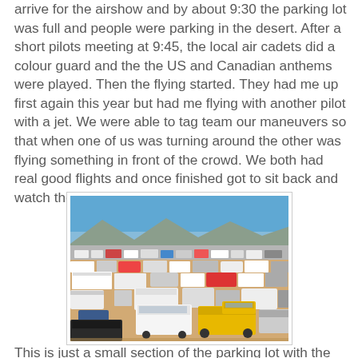arrive for the airshow and by about 9:30 the parking lot was full and people were parking in the desert. After a short pilots meeting at 9:45, the local air cadets did a colour guard and the the US and Canadian anthems were played. Then the flying started. They had me up first again this year but had me flying with another pilot with a jet. We were able to tag team our maneuvers so that when one of us was turning around the other was flying something in front of the crowd. We both had real good flights and once finished got to sit back and watch the rest of the show.
[Figure (photo): Aerial photograph of a packed desert parking lot at an airshow, showing many vehicles including a prominent yellow pickup truck, white SUV, and various other cars and trucks packed tightly together with desert terrain and mountains visible in the background under a clear blue sky.]
This is just a small section of the parking lot with the flight